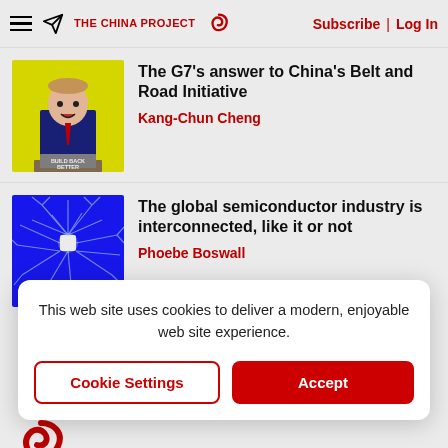The China Project — Subscribe | Log In
The G7's answer to China's Belt and Road Initiative
Kang-Chun Cheng
The global semiconductor industry is interconnected, like it or not
Phoebe Boswall
This web site uses cookies to deliver a modern, enjoyable web site experience.
Cookie Settings
Accept